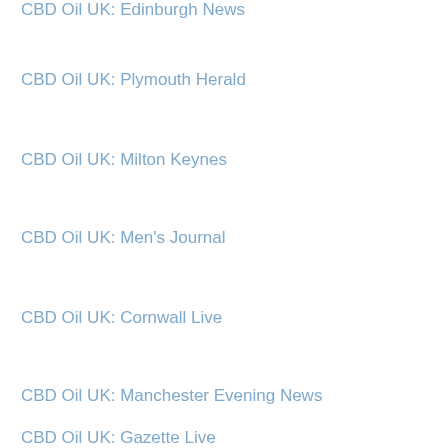CBD Oil UK: Edinburgh News
CBD Oil UK: Plymouth Herald
CBD Oil UK: Milton Keynes
CBD Oil UK: Men's Journal
CBD Oil UK: Cornwall Live
CBD Oil UK: Manchester Evening News
CBD Oil UK: Gazette Live